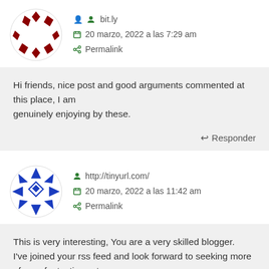[Figure (illustration): Dark red diamond pattern avatar for user bit.ly]
bit.ly
20 marzo, 2022 a las 7:29 am
Permalink
Hi friends, nice post and good arguments commented at this place, I am
genuinely enjoying by these.
Responder
[Figure (illustration): Blue geometric star/snowflake pattern avatar for user http://tinyurl.com/]
http://tinyurl.com/
20 marzo, 2022 a las 11:42 am
Permalink
This is very interesting, You are a very skilled blogger.
I've joined your rss feed and look forward to seeking more of your fantastic post.
Also, I have shared your site in my social networks!
Responder